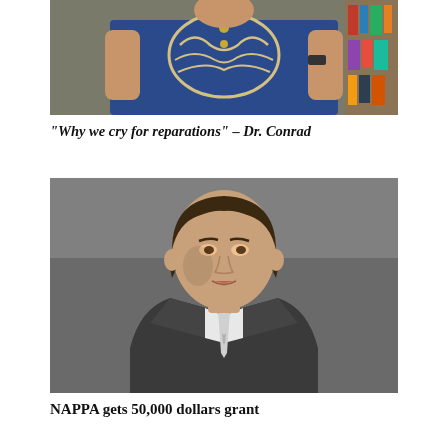[Figure (photo): Partial photo of a person wearing a blue embroidered shirt, sitting in front of a bookshelf, cropped at torso/shoulder level]
“Why we cry for reparations” – Dr. Conrad
[Figure (photo): Photo of a man in a dark suit and tie, appearing to speak or be interviewed, gray/neutral background]
NAPPA gets 50,000 dollars grant